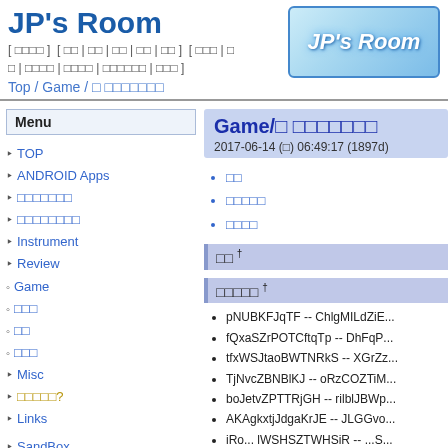JP's Room
[ □□□□ ] [ □□ | □□ | □□ | □□ | □□ ] [ □□□ | □□ | □□□□ | □□□□ | □□□□□□ | □□□ ]
Top / Game / □ □□□□□□□
[Figure (logo): JP's Room logo with blue gradient background and white italic text]
Menu
TOP
ANDROID Apps
□□□□□□□
□□□□□□□□
Instrument
Review
Game
□□□
□□
□□□
Misc
□□□□□?
Links
SandBox
□□□10□
2015-12-13
Game/□ □□□□□□□
2017-06-14 (□) 06:49:17 (1897d)
□□
□□□□□
□□□□
□□ †
□□□□□ †
pNUBKFJqTF -- ChlgMILdZiE...
fQxaSZrPOTCftqTp -- DhFqP...
tfxWSJtaoBWTNRkS -- XGrZz...
TjNvcZBNBlKJ -- oRzCOZTiM...
boJetvZPTTRjGH -- rilblJBWp...
AKAgkxtjJdgaKrJE -- JLGGvo...
iRo... lWSHSZTWHSiR -- ...S...